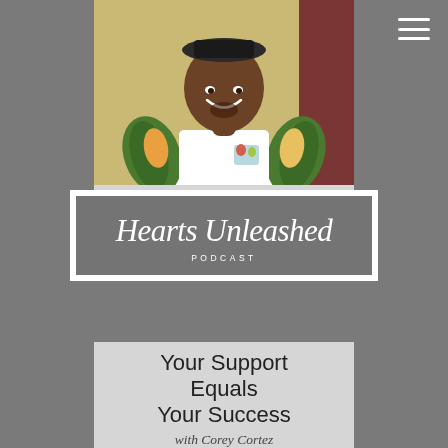[Figure (photo): Man in white t-shirt with tropical floral sleeves, smiling, against yellow and dark red background]
Episode 021
[Figure (logo): Hearts Unleashed Podcast logo - white cursive text on gray background with white border]
Your Support Equals Your Success with Corey Cortez